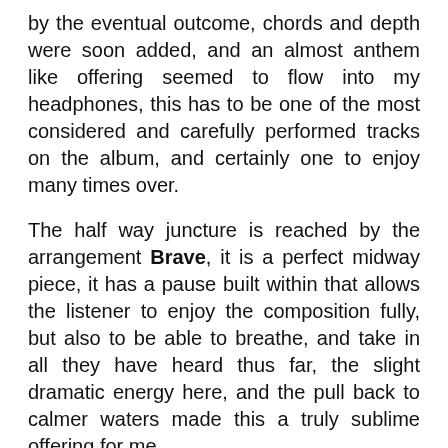by the eventual outcome, chords and depth were soon added, and an almost anthem like offering seemed to flow into my headphones, this has to be one of the most considered and carefully performed tracks on the album, and certainly one to enjoy many times over.
The half way juncture is reached by the arrangement Brave, it is a perfect midway piece, it has a pause built within that allows the listener to enjoy the composition fully, but also to be able to breathe, and take in all they have heard thus far, the slight dramatic energy here, and the pull back to calmer waters made this a truly sublime offering for me.
We all have them, some good, some bad, some bizarre, Dreams is a piece that gracefully hovers from one corner of your musical mind-set to another, almost like it is calling out to you at times. Wallach's sensitive performance here is truly